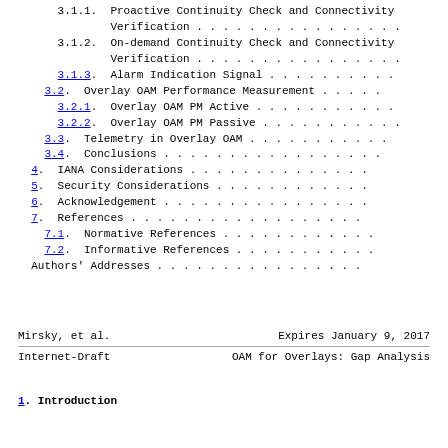3.1.1. Proactive Continuity Check and Connectivity Verification . . . . . . . . . . .
3.1.2. On-demand Continuity Check and Connectivity Verification . . . . . . . . . . .
3.1.3. Alarm Indication Signal . . . . . . . . . .
3.2. Overlay OAM Performance Measurement . . . . .
3.2.1. Overlay OAM PM Active . . . . . . . . . .
3.2.2. Overlay OAM PM Passive . . . . . . . . . .
3.3. Telemetry in Overlay OAM . . . . . . . . . .
3.4. Conclusions . . . . . . . . . . . . . . . .
4. IANA Considerations . . . . . . . . . . . . .
5. Security Considerations . . . . . . . . . . .
6. Acknowledgement . . . . . . . . . . . . . . .
7. References . . . . . . . . . . . . . . . . .
7.1. Normative References . . . . . . . . . . .
7.2. Informative References . . . . . . . . . .
Authors' Addresses . . . . . . . . . . . . . .
Mirsky, et al.        Expires January 9, 2017
Internet-Draft        OAM for Overlays: Gap Analysis
1. Introduction